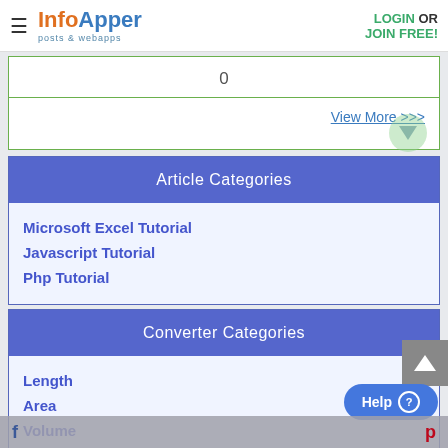InfoApper - posts & webapps | LOGIN OR JOIN FREE!
0
View More >>>
Article Categories
Microsoft Excel Tutorial
Javascript Tutorial
Php Tutorial
Converter Categories
Length
Area
Volume
Area Moment Of Inertia
Help